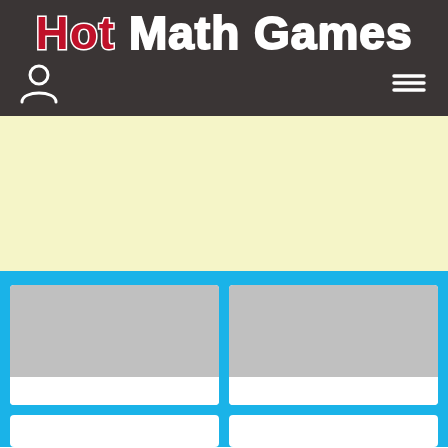Hot Math Games
[Figure (screenshot): Light yellow banner/advertisement area]
[Figure (screenshot): Blue game grid section with placeholder game card thumbnails (grey rectangles) arranged in a 2-column grid]
[Figure (screenshot): Partial bottom row of game cards]